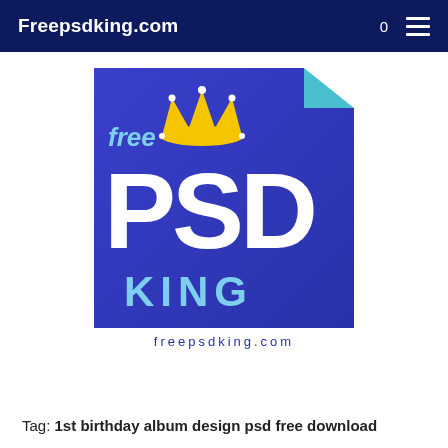Freepsdking.com
[Figure (logo): Freepsdking.com logo: dark blue document/file icon shape with a teal folded corner, text 'free' in light blue, large 'PSD' in white, 'KING' in light blue, yellow crown graphic on top, and 'freepsdking.com' text below in dark blue outline letters]
Tag: 1st birthday album design psd free download